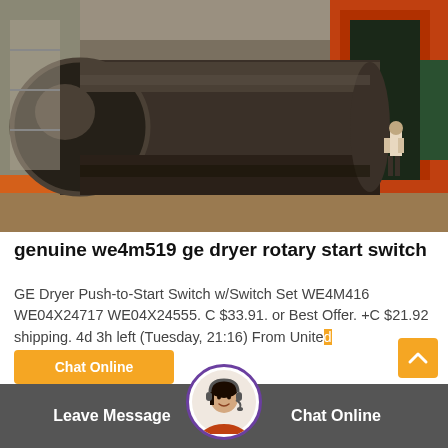[Figure (photo): Large industrial pipe/rotary drum being loaded or unloaded in a factory/warehouse with orange industrial equipment and a worker visible in the background]
genuine we4m519 ge dryer rotary start switch
GE Dryer Push-to-Start Switch w/Switch Set WE4M416 WE04X24717 WE04X24555. C $33.91. or Best Offer. +C $21.92 shipping. 4d 3h left (Tuesday, 21:16) From United
Chat Online
Leave Message
Chat Online